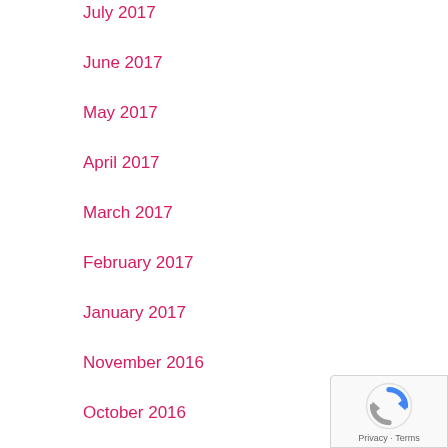July 2017
June 2017
May 2017
April 2017
March 2017
February 2017
January 2017
November 2016
October 2016
August 2016